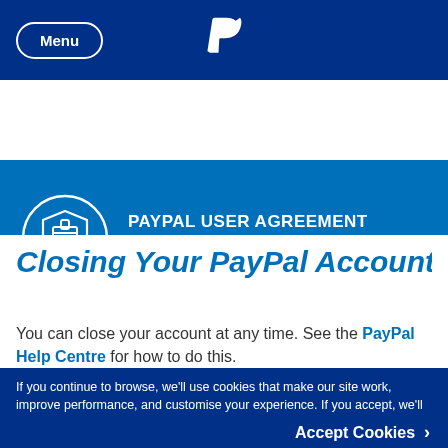Menu | PayPal logo
PAYPAL USER AGREEMENT
About Your Account
Closing Your PayPal Account
You can close your account at any time. See the PayPal Help Centre for how to do this.
If you continue to browse, we'll use cookies that make our site work, improve performance, and customise your experience. If you accept, we'll also use cookies to personalise ads. Manage your cookies
Accept Cookies >